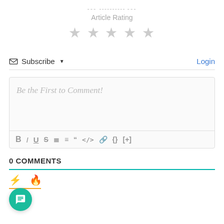[Figure (other): Article rating widget with dashes and 5 empty grey stars below 'Article Rating' label]
Subscribe ▾   Login
[Figure (screenshot): Comment text editor box with placeholder 'Be the First to Comment!' and formatting toolbar (B, I, U, S, ordered list, unordered list, quote, code, link, {}, [+])]
0 COMMENTS
[Figure (other): Tab icons: lightning bolt (orange) and fire (red-orange), with orange underline tab indicator]
[Figure (other): Teal circular chat bubble FAB button in lower left]